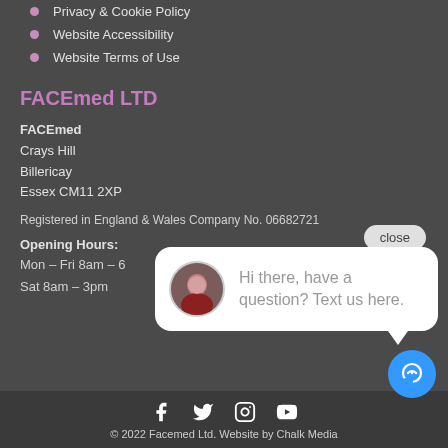Privacy & Cookie Policy
Website Accessibility
Website Terms of Use
FACEmed LTD
FACEmed
Crays Hill
Billericay
Essex CM11 2XP
Registered in England & Wales Company No. 06682721
Opening Hours:
Mon – Fri 8am – 6
Sat 8am – 3pm
[Figure (screenshot): Chat popup with close button and avatar saying 'Hi there, have a question? Text us here.']
© 2022 Facemed Ltd. Website by Chalk Media